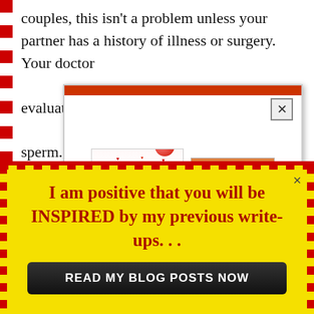couples, this isn't a problem unless your partner has a history of illness or surgery. Your doctor [obscured] evaluate the [obscured] sperm.
*You need t[obscured]
You need to [obscured] intercourse[obscured]
[Figure (illustration): Popup overlay with orange-red header bar and close button, showing two book covers: 'Love Like No Other' (red and white with hearts) and a silhouette family book by Mary Omolola]
I am positive that you will be INSPIRED by my previous write-ups. . .
READ MY BLOG POSTS NOW